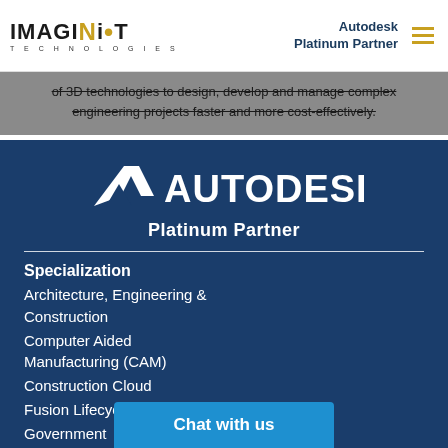[Figure (logo): IMAGINiT Technologies logo with gold dot on the i]
Autodesk Platinum Partner
of 3D technologies to design, develop and manage complex engineering projects faster and more cost-effectively.
[Figure (logo): Autodesk Platinum Partner logo in white on dark blue background]
Specialization
Architecture, Engineering & Construction
Computer Aided Manufacturing (CAM)
Construction Cloud
Fusion Lifecycle (PLM)
Government
Product Design & Manufacturing
Chat with us